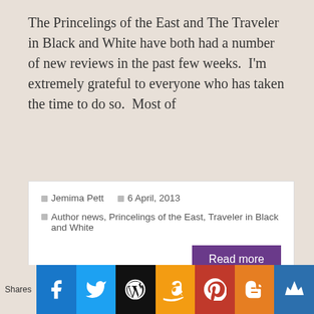The Princelings of the East and The Traveler in Black and White have both had a number of new reviews in the past few weeks.  I'm extremely grateful to everyone who has taken the time to do so.  Most of
Jemima Pett   6 April, 2013
Author news, Princelings of the East, Traveler in Black and White
Read more
« Previous
Shares